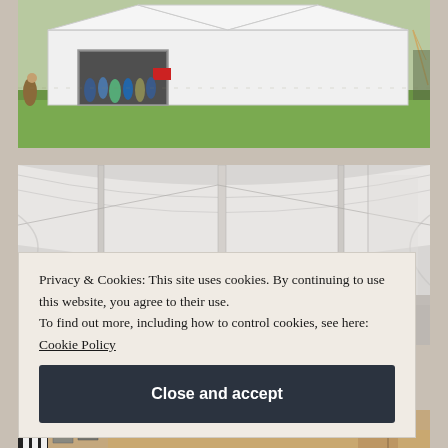[Figure (photo): Outdoor photo of a large white event tent/marquee on a green grassy field with people gathered at its entrance on a sunny day]
[Figure (photo): Interior view of a large white tent/marquee showing white draped fabric walls and structural poles]
Privacy & Cookies: This site uses cookies. By continuing to use this website, you agree to their use.
To find out more, including how to control cookies, see here: Cookie Policy
Close and accept
[Figure (photo): Partial view of a bottom photo showing what appears to be outdoor equipment or machinery]